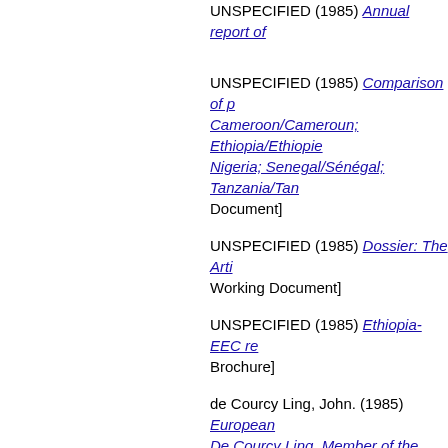UNSPECIFIED (1985) Annual report of [EU Document]
UNSPECIFIED (1985) Comparison of p... Cameroon/Cameroun; Ethiopia/Ethiopie... Nigeria; Senegal/Sénégal; Tanzania/Tan... [EU Document]
UNSPECIFIED (1985) Dossier: The Arti... [EU Working Document]
UNSPECIFIED (1985) Ethiopia-EEC re... [EU Brochure]
de Courcy Ling, John. (1985) European... De Courcy Ling, Member of the Europe... Washington DC, 16 September 1985. [E...
UNSPECIFIED (1985) Exotic tropical fru...
UNSPECIFIED (1985) Mining. The Cou...
UNSPECIFIED (1985) NEW AID PLAN...
UNSPECIFIED (1985) Second ACP-EE... January 1984 - 31 December 1984. [EU...